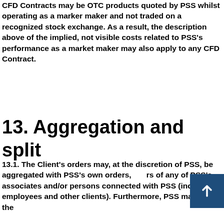CFD Contracts may be OTC products quoted by PSS whilst operating as a marker maker and not traded on a recognized stock exchange. As a result, the description above of the implied, not visible costs related to PSS's performance as a market maker may also apply to any CFD Contract.
13. Aggregation and split
13.1. The Client's orders may, at the discretion of PSS, be aggregated with PSS's own orders, orders of any of PSS's associates and/or persons connected with PSS (including employees and other clients). Furthermore, PSS may split the